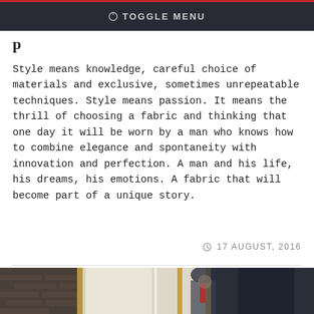⊘ TOGGLE MENU
p
Style means knowledge, careful choice of materials and exclusive, sometimes unrepeatable techniques. Style means passion. It means the thrill of choosing a fabric and thinking that one day it will be worn by a man who knows how to combine elegance and spontaneity with innovation and perfection. A man and his life, his dreams, his emotions. A fabric that will become part of a unique story.
17 AUGUST, 2016
[Figure (photo): Two men in formal suits standing near tall windows in a room with brick walls and ornate gold-framed mirrors. One man faces the camera wearing a blue suit with a red tie, the other stands with his back turned in a dark suit.]